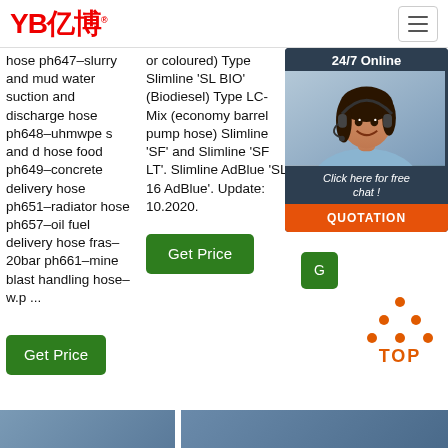YB亿博
hose ph647–slurry and mud water suction and discharge hose ph648–uhmwpe s and d hose food ph649–concrete delivery hose ph651–radiator hose ph657–oil fuel delivery hose fras–20bar ph661–mine blast handling hose–w.p ...
or coloured) Type Slimline 'SL BIO' (Biodiesel) Type LC-Mix (economy barrel pump hose) Slimline 'SF' and Slimline 'SF LT'. Slimline AdBlue 'SL 16 AdBlue'. Update: 10.2020.
transfer hose ass… are… che… loca… and… mat… dan… exp… kinc…
[Figure (photo): Customer service representative with headset, chat popup overlay with '24/7 Online', 'Click here for free chat!', and 'QUOTATION' button]
Get Price
Get Price
[Figure (infographic): TOP button with orange dots above the text TOP]